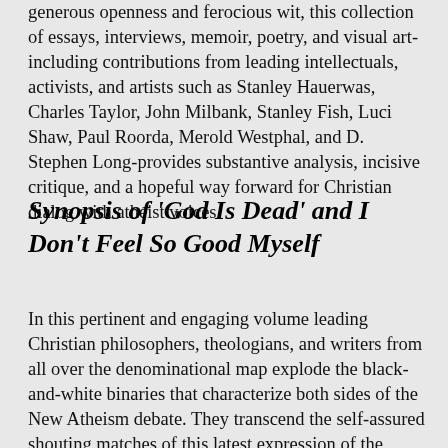generous openness and ferocious wit, this collection of essays, interviews, memoir, poetry, and visual art-including contributions from leading intellectuals, activists, and artists such as Stanley Hauerwas, Charles Taylor, John Milbank, Stanley Fish, Luci Shaw, Paul Roorda, Merold Westphal, and D. Stephen Long-provides substantive analysis, incisive critique, and a hopeful way forward for Christian dialog with atheist voices.
Synopsis of 'God Is Dead' and I Don't Feel So Good Myself
In this pertinent and engaging volume leading Christian philosophers, theologians, and writers from all over the denominational map explode the black-and-white binaries that characterize both sides of the New Atheism debate. They transcend the self-assured shouting matches of this latest expression of the culture wars by engaging in rigorous, polychromatic Christian reflection that considers the extent to which the atheistic criti...